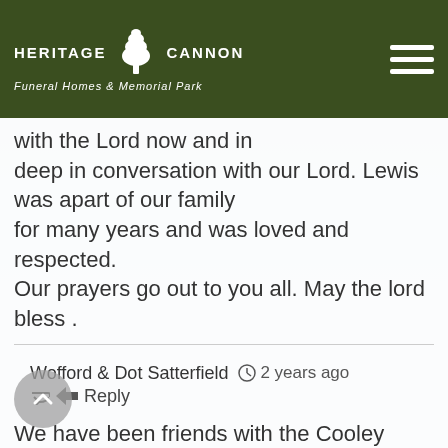HERITAGE CANNON Funeral Homes & Memorial Park
with the Lord now and in deep in conversation with our Lord. Lewis was apart of our family for many years and was loved and respected. Our prayers go out to you all. May the lord bless .
Wofford & Dot Satterfield  2 years ago  Reply
We have been friends with the Cooley family for many years now, and our deepest sympathy goes out in the loss of your loved one, He was a special person and I know he will be missed. We pray God will be with you now and in the days ahead!